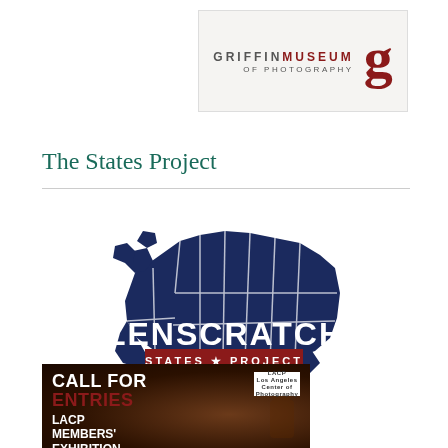[Figure (logo): Griffin Museum of Photography logo with stylized red cursive 'g' and museum name in gray and red sans-serif letterforms]
The States Project
[Figure (logo): Lenscratch States Project logo: dark navy blue silhouette of the United States with bold white LENSCRATCH text and red banner reading STATES * PROJECT]
[Figure (other): LACP (Los Angeles Center of Photography) Call for Entries - LACP Members' Exhibition advertisement on dark brown/black textured background with white and red text]